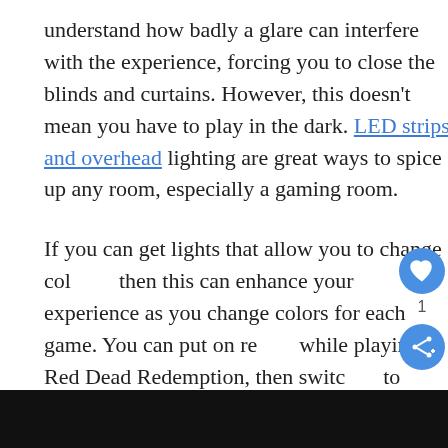understand how badly a glare can interfere with the experience, forcing you to close the blinds and curtains. However, this doesn't mean you have to play in the dark. LED strips and overhead lighting are great ways to spice up any room, especially a gaming room.
If you can get lights that allow you to change colors, then this can enhance your experience as you change colors for each game. You can put on red while playing Red Dead Redemption, then switch to green while playing Zelda. Put some thought on how to set up your lights and how it can impact your gaming experience.